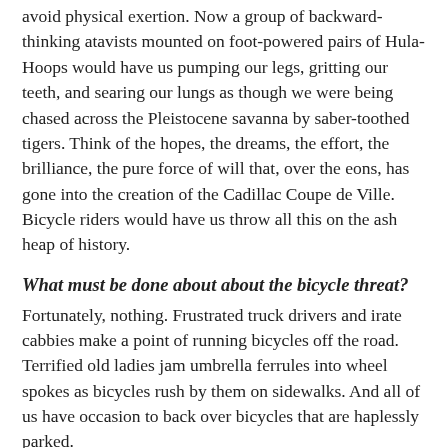avoid physical exertion. Now a group of backward-thinking atavists mounted on foot-powered pairs of Hula-Hoops would have us pumping our legs, gritting our teeth, and searing our lungs as though we were being chased across the Pleistocene savanna by saber-toothed tigers. Think of the hopes, the dreams, the effort, the brilliance, the pure force of will that, over the eons, has gone into the creation of the Cadillac Coupe de Ville. Bicycle riders would have us throw all this on the ash heap of history.
What must be done about about the bicycle threat?
Fortunately, nothing. Frustrated truck drivers and irate cabbies make a point of running bicycles off the road. Terrified old ladies jam umbrella ferrules into wheel spokes as bicycles rush by them on sidewalks. And all of us have occasion to back over bicycles that are haplessly parked.
Bicycles are quiet and slight, difficult for normal motorized humans to see and hear. People pull out in front of bicycles, open car doors in their path, and drive through intersections filled with the things. The insubstantial bicycle and its unshielded rider are defenseless against these actions. It's a simple matter of natural selection. The bicycle will be extinct within the decade. And what